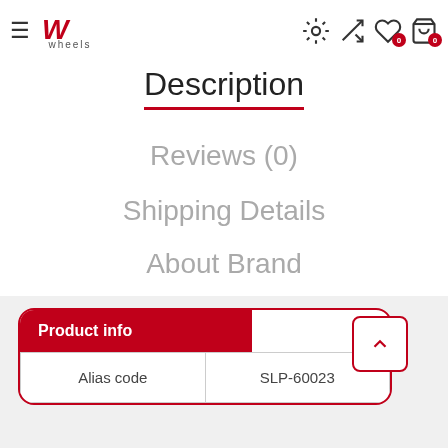[Figure (logo): Wheels brand logo with stylized W in red and 'wheels' text below]
Description
Reviews (0)
Shipping Details
About Brand
| Product info |  |
| --- | --- |
| Alias code | SLP-60023 |